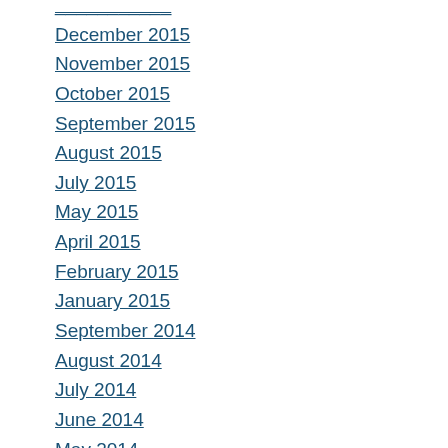December 2015
November 2015
October 2015
September 2015
August 2015
July 2015
May 2015
April 2015
February 2015
January 2015
September 2014
August 2014
July 2014
June 2014
May 2014
April 2014
March 2014
February 2014